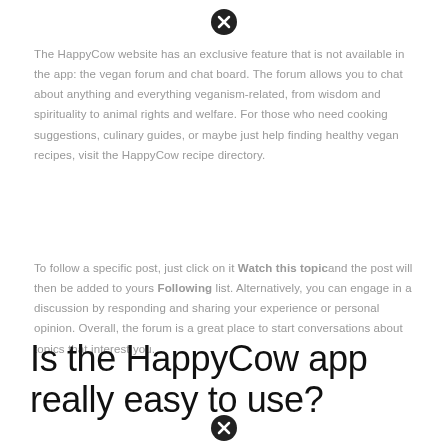[Figure (other): Black circle with X icon at top of page]
The HappyCow website has an exclusive feature that is not available in the app: the vegan forum and chat board. The forum allows you to chat about anything and everything veganism-related, from wisdom and spirituality to animal rights and welfare. For those who need cooking suggestions, culinary guides, or maybe just help finding healthy vegan recipes, visit the HappyCow recipe directory.
To follow a specific post, just click on it Watch this topic and the post will then be added to yours Following list. Alternatively, you can engage in a discussion by responding and sharing your experience or personal opinion. Overall, the forum is a great place to start conversations about topics that interest you.
Is the HappyCow app really easy to use?
[Figure (other): Black circle with X icon at bottom of page]